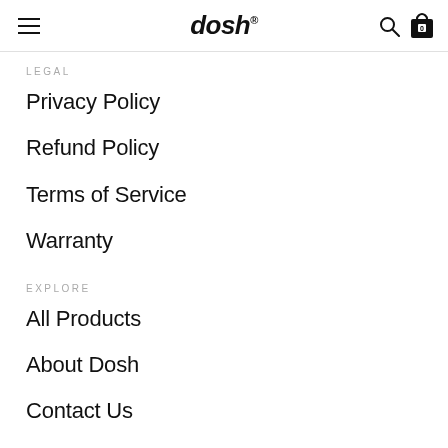dosh
LEGAL
Privacy Policy
Refund Policy
Terms of Service
Warranty
EXPLORE
All Products
About Dosh
Contact Us
Product Design
CONTACT
info@doshbrand.com